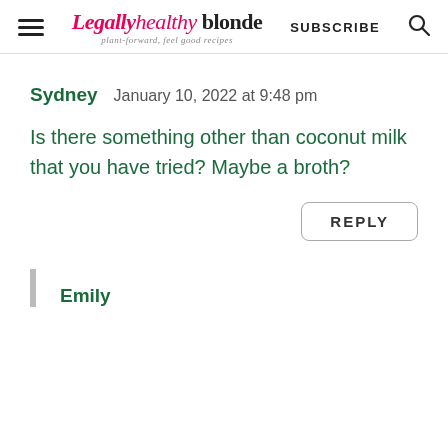Legally healthy blonde — plant-forward, feel good recipes | SUBSCRIBE
Sydney   January 10, 2022 at 9:48 pm
Is there something other than coconut milk that you have tried? Maybe a broth?
REPLY
Emily